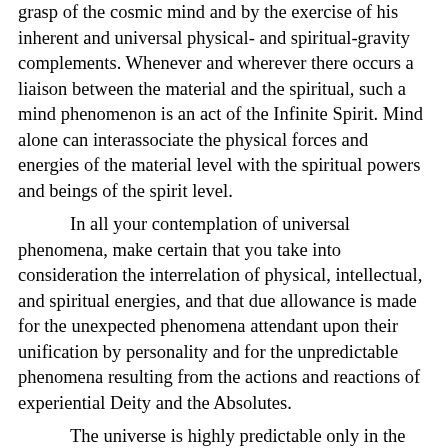grasp of the cosmic mind and by the exercise of his inherent and universal physical- and spiritual-gravity complements. Whenever and wherever there occurs a liaison between the material and the spiritual, such a mind phenomenon is an act of the Infinite Spirit. Mind alone can interassociate the physical forces and energies of the material level with the spiritual powers and beings of the spirit level.

In all your contemplation of universal phenomena, make certain that you take into consideration the interrelation of physical, intellectual, and spiritual energies, and that due allowance is made for the unexpected phenomena attendant upon their unification by personality and for the unpredictable phenomena resulting from the actions and reactions of experiential Deity and the Absolutes.

The universe is highly predictable only in the quantitative or gravity-measurement sense; even the primal physical forces are not responsive to linear gravity, nor are the higher mind meanings and true spirit values of ultimate universe realities. Qualitatively, the universe is not highly predictable as regards new associations of forces, either physical, mindal, or spiritual, although many such combinations of energies or forces become partially predictable